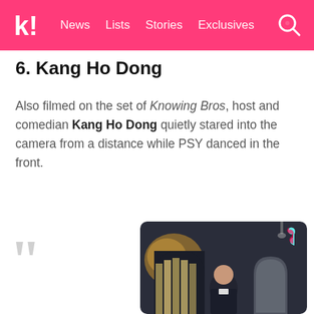k! News Lists Stories Exclusives
6. Kang Ho Dong
Also filmed on the set of Knowing Bros, host and comedian Kang Ho Dong quietly stared into the camera from a distance while PSY danced in the front.
[Figure (photo): Dark room scene showing a person standing in front of an arched doorway with curtains and a mirror, TikTok logo watermark visible in upper right corner]